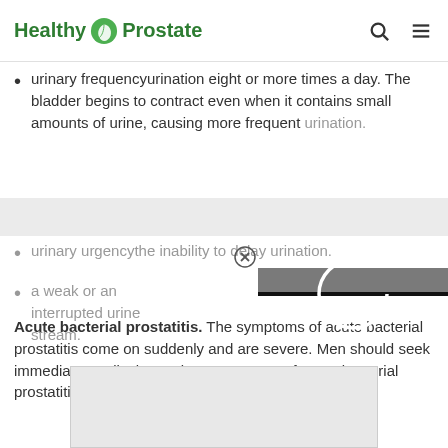Healthy Prostate
urinary frequencyurination eight or more times a day. The bladder begins to contract even when it contains small amounts of urine, causing more frequent urination.
urinary urgencythe inability to delay urination.
a weak or an interrupted urine stream.
Acute bacterial prostatitis. The symptoms of acute bacterial prostatitis come on suddenly and are severe. Men should seek immediate medical attention. Symptoms of acute bacterial prostatitis may include
[Figure (other): Video ad overlay with loading spinner circle on black background, gray bar at top, and close button (X in circle)]